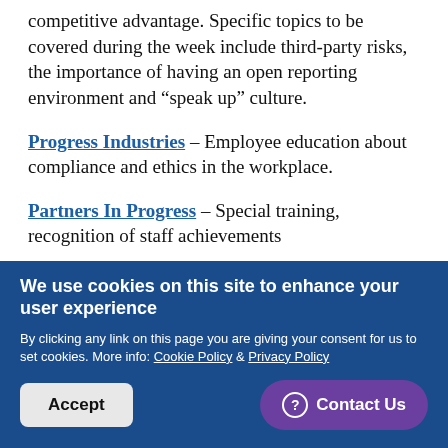competitive advantage. Specific topics to be covered during the week include third-party risks, the importance of having an open reporting environment and “speak up” culture.
Progress Industries – Employee education about compliance and ethics in the workplace.
Partners In Progress – Special training, recognition of staff achievements
Cerner Corporation – We provide daily reminders on specific Compliance and Ethics topics and each...
We use cookies on this site to enhance your user experience

By clicking any link on this page you are giving your consent for us to set cookies. More info: Cookie Policy & Privacy Policy

[Accept] [Contact Us]